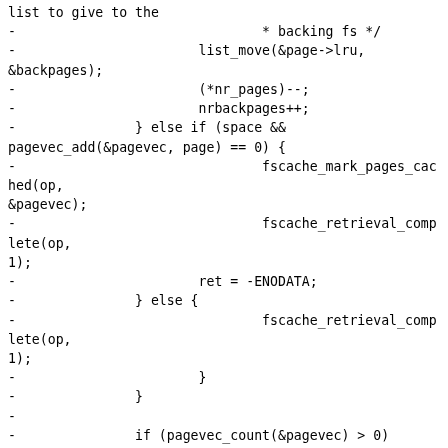list to give to the
-                               * backing fs */
-                       list_move(&page->lru, &backpages);
-                       (*nr_pages)--;
-                       nrbackpages++;
-               } else if (space && pagevec_add(&pagevec, page) == 0) {
-                               fscache_mark_pages_cached(op, &pagevec);
-                               fscache_retrieval_complete(op, 1);
-                       ret = -ENODATA;
-               } else {
-                               fscache_retrieval_complete(op, 1);
-                       }
-               }
-
-               if (pagevec_count(&pagevec) > 0)
-                       fscache_mark_pages_cached(op, &pagevec);
-
-               if (list_empty(pages))
-                       ret = 0;
-
-               /* submit the apparently valid pages to the backing fs to be read from
-                * disk */
-               if (nrbackpages > 0) {